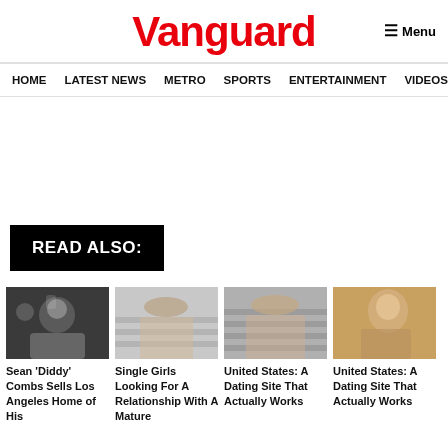Vanguard
Menu
HOME  LATEST NEWS  METRO  SPORTS  ENTERTAINMENT  VIDEOS
READ ALSO:
Sean 'Diddy' Combs Sells Los Angeles Home of His
Single Girls Looking For A Relationship With A Mature
United States: A Dating Site That Actually Works
United States: A Dating Site That Actually Works